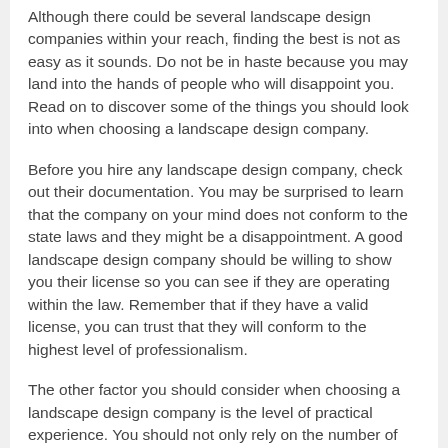Although there could be several landscape design companies within your reach, finding the best is not as easy as it sounds. Do not be in haste because you may land into the hands of people who will disappoint you. Read on to discover some of the things you should look into when choosing a landscape design company.
Before you hire any landscape design company, check out their documentation. You may be surprised to learn that the company on your mind does not conform to the state laws and they might be a disappointment. A good landscape design company should be willing to show you their license so you can see if they are operating within the law. Remember that if they have a valid license, you can trust that they will conform to the highest level of professionalism.
The other factor you should consider when choosing a landscape design company is the level of practical experience. You should not only rely on the number of years a particular landscape design company has been in the field to ascertain their level of experience. You